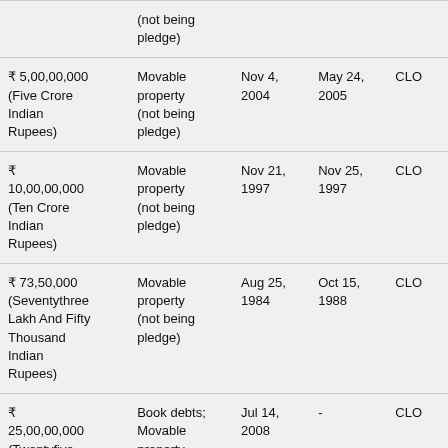| (not being pledge) |  |  |  |  |
| ₹ 5,00,00,000 (Five Crore Indian Rupees) | Movable property (not being pledge) | Nov 4, 2004 | May 24, 2005 | CLO |
| ₹ 10,00,00,000 (Ten Crore Indian Rupees) | Movable property (not being pledge) | Nov 21, 1997 | Nov 25, 1997 | CLO |
| ₹ 73,50,000 (Seventythree Lakh And Fifty Thousand Indian Rupees) | Movable property (not being pledge) | Aug 25, 1984 | Oct 15, 1988 | CLO |
| ₹ 25,00,00,000 (Twentyfive Crore Indian | Book debts; Movable property (not being | Jul 14, 2008 | - | CLO |